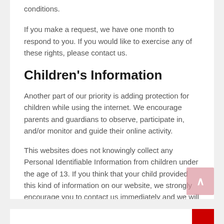conditions.
If you make a request, we have one month to respond to you. If you would like to exercise any of these rights, please contact us.
Children's Information
Another part of our priority is adding protection for children while using the internet. We encourage parents and guardians to observe, participate in, and/or monitor and guide their online activity.
This websites does not knowingly collect any Personal Identifiable Information from children under the age of 13. If you think that your child provided this kind of information on our website, we strongly encourage you to contact us immediately and we will do our best efforts to promptly remove such information from our records.